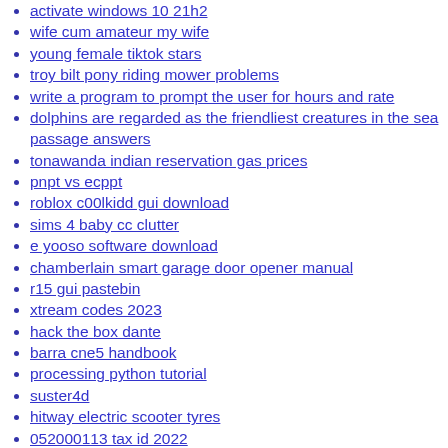activate windows 10 21h2
wife cum amateur my wife
young female tiktok stars
troy bilt pony riding mower problems
write a program to prompt the user for hours and rate
dolphins are regarded as the friendliest creatures in the sea passage answers
tonawanda indian reservation gas prices
pnpt vs ecppt
roblox c00lkidd gui download
sims 4 baby cc clutter
e yooso software download
chamberlain smart garage door opener manual
r15 gui pastebin
xtream codes 2023
hack the box dante
barra cne5 handbook
processing python tutorial
suster4d
hitway electric scooter tyres
052000113 tax id 2022
omron codesys
supernanny corporal punishment
north carolina cna reciprocity online application
live ccn checker